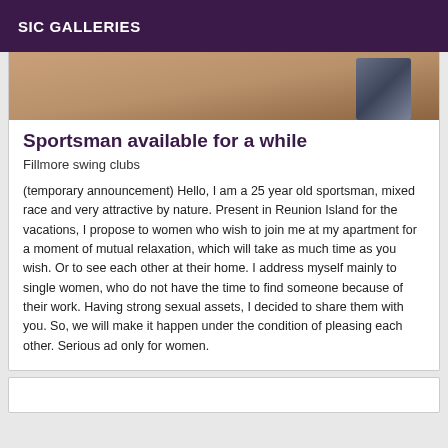SIC GALLERIES
[Figure (photo): Partial view of a person's torso, shirtless, with a dark strap visible on the right side. Brown/tan skin tone. Photo strip at top of listing card.]
Sportsman available for a while
Fillmore swing clubs
(temporary announcement) Hello, I am a 25 year old sportsman, mixed race and very attractive by nature. Present in Reunion Island for the vacations, I propose to women who wish to join me at my apartment for a moment of mutual relaxation, which will take as much time as you wish. Or to see each other at their home. I address myself mainly to single women, who do not have the time to find someone because of their work. Having strong sexual assets, I decided to share them with you. So, we will make it happen under the condition of pleasing each other. Serious ad only for women.